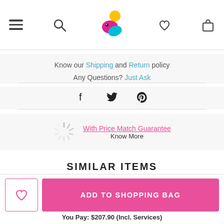Navigation bar with hamburger menu, search, logo, heart/wishlist, and shopping bag icons
Know our Shipping and Return policy
Any Questions? Just Ask
[Figure (infographic): Social share icons: Facebook, Twitter, Pinterest]
[Figure (infographic): Loading spinner with Price Match Guarantee link and Know More text]
SIMILAR ITEMS
[Figure (infographic): Loading spinner for similar items]
[Figure (infographic): Help button (teal rounded rectangle with question mark icon)]
ADD TO SHOPPING BAG
You Pay: $207.90 (Incl. Services)